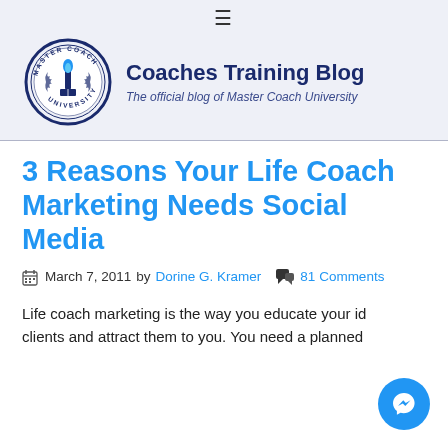Coaches Training Blog — The official blog of Master Coach University
3 Reasons Your Life Coach Marketing Needs Social Media
March 7, 2011 by Dorine G. Kramer  81 Comments
Life coach marketing is the way you educate your ideal clients and attract them to you. You need a planned